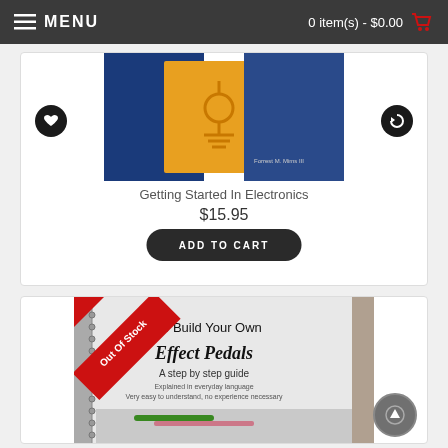MENU   0 item(s) - $0.00
[Figure (photo): Book cover: Getting Started In Electronics with blue and orange cover showing a circuit symbol]
Getting Started In Electronics
$15.95
ADD TO CART
[Figure (photo): Book cover: How To Build Your Own Effect Pedals - A step by step guide, with Out Of Stock ribbon overlay]